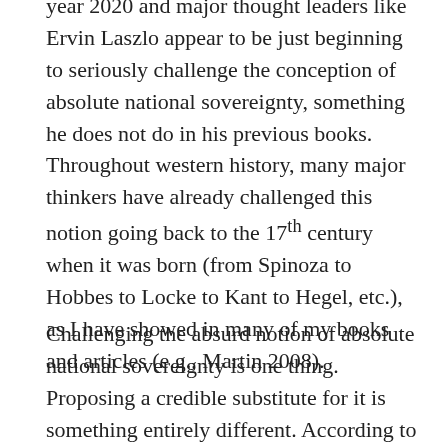year 2020 and major thought leaders like Ervin Laszlo appear to be just beginning to seriously challenge the conception of absolute national sovereignty, something he does not do in his previous books. Throughout western history, many major thinkers have already challenged this notion going back to the 17th century when it was born (from Spinoza to Hobbes to Locke to Kant to Hegel, etc.), as I have showed in many of my books and articles (e.g., Martin 2008).
Challenging the absurd notion of absolute national sovereignty is one thing. Proposing a credible substitute for it is something entirely different. According to Laszlo, within the next 10 years the world must form seven regional unions comparable to the European Union and